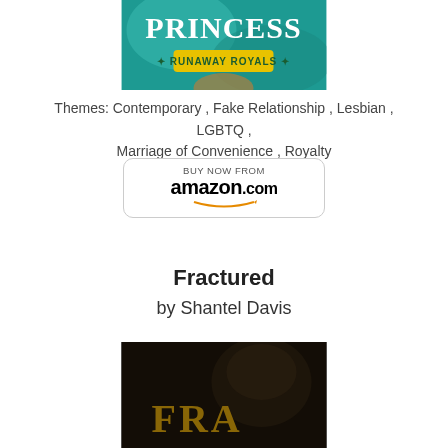[Figure (photo): Book cover for a princess story - Runaway Royals series, partial top view showing teal/turquoise background with title text]
Themes:  Contemporary , Fake Relationship , Lesbian , LGBTQ , Marriage of Convenience , Royalty
[Figure (other): Buy Now From amazon.com button with Amazon logo and smile arrow]
Fractured
by Shantel Davis
[Figure (photo): Book cover for Fractured - dark moody cover showing partial text FRA in gold letters with a person's face in shadow]